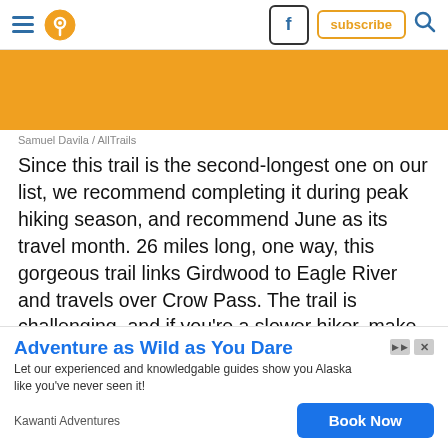Navigation bar with hamburger menu, pin/location icon, Facebook button, subscribe button, search icon
[Figure (other): Orange/amber colored banner rectangle]
Samuel Davila / AllTrails
Since this trail is the second-longest one on our list, we recommend completing it during peak hiking season, and recommend June as its travel month. 26 miles long, one way, this gorgeous trail links Girdwood to Eagle River and travels over Crow Pass. The trail is challenging, and if you're a slower hiker, make sure to rent the two cabins along the way to break up the hike into two or three days. Or, if you're very experienced, shoot for the moon and run the trail as a single hike. Race winners have finished in just less than... enjoyment... 26-mile tra... in Alaska,
[Figure (other): Advertisement overlay: Adventure as Wild as You Dare - Kawanti Adventures with Book Now button. Text: Let our experienced and knowledgable guides show you Alaska like you've never seen it!]